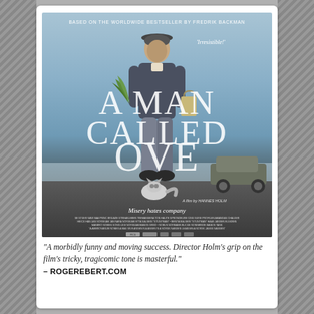[Figure (photo): Movie poster for 'A Man Called Ove'. Shows an older man standing on a road holding vegetables, with a cat at his feet and a car in the background. Text reads: 'Based on the worldwide bestseller by Fredrik Backman', 'Irresistible!', 'A MAN CALLED OVE', 'Misery hates company'. A film by Hannes Holm.]
“A morbidly funny and moving success. Director Holm’s grip on the film’s tricky, tragicomic tone is masterful.” – ROGEREBERT.COM